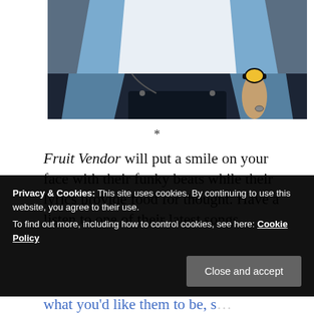[Figure (photo): Photo showing the torso of a person wearing a light blue denim jacket over a white t-shirt, dark pants, a black watch with gold face on the wrist, and holding a dark crossbody bag. Background is dark grey/blue wall.]
*
Fruit Vendor will put a smile on your face with their funky beats while their lyrics provide food for thought. Have a listen to one of their latest songs,
Privacy & Cookies: This site uses cookies. By continuing to use this website, you agree to their use.
To find out more, including how to control cookies, see here: Cookie Policy
Close and accept